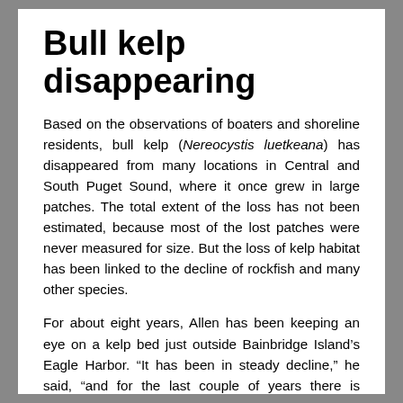Bull kelp disappearing
Based on the observations of boaters and shoreline residents, bull kelp (Nereocystis luetkeana) has disappeared from many locations in Central and South Puget Sound, where it once grew in large patches. The total extent of the loss has not been estimated, because most of the lost patches were never measured for size. But the loss of kelp habitat has been linked to the decline of rockfish and many other species.
For about eight years, Allen has been keeping an eye on a kelp bed just outside Bainbridge Island’s Eagle Harbor. “It has been in steady decline,” he said, “and for the last couple of years there is nothing showing on the surface.”
Allen’s current research, which he presented at April’s Salish Sea Ecosystem Conference, involves identifying enhancement techniques to restore lost kelp beds. It is